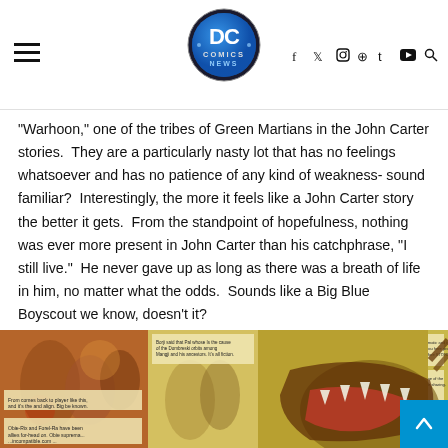DC Comics News — hamburger menu, logo, social icons (f, twitter, instagram, pinterest, t, youtube, search)
“Warhoon,” one of the tribes of Green Martians in the John Carter stories.  They are a particularly nasty lot that has no feelings whatsoever and has no patience of any kind of weakness- sound familiar?  Interestingly, the more it feels like a John Carter story the better it gets.  From the standpoint of hopefulness, nothing was ever more present in John Carter than his catchphrase, “I still live.”  He never gave up as long as there was a breath of life in him, no matter what the odds.  Sounds like a Big Blue Boyscout we know, doesn’t it?
[Figure (illustration): Comic book panel strip showing action scenes with characters fighting, a large creature with open jaws, and various caption boxes with text]